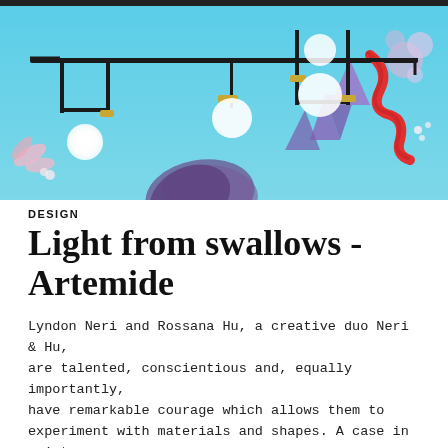[Figure (photo): Artistic lighting fixture installation by Artemide featuring black metal rods with U-shaped hangers, golden connectors, white globe lights, a red snake coiled around a rod, and a vivid blue sky background with purple tropical plants and pink floral elements.]
DESIGN
Light from swallows - Artemide
Lyndon Neri and Rossana Hu, a creative duo Neri & Hu, are talented, conscientious and, equally importantly, have remarkable courage which allows them to experiment with materials and shapes. A case in point is an intriguing novelty in their portfolio.